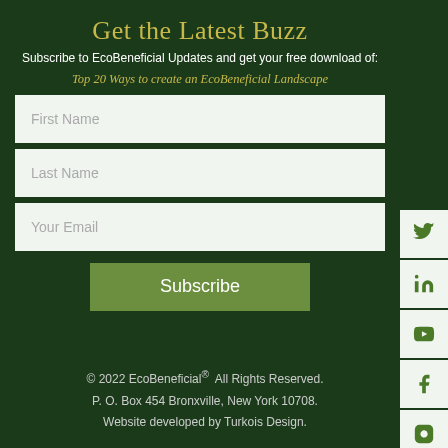Get the Latest Buzz
Subscribe to EcoBeneficial Updates and get your free download of:
Top 20 Ways to create an EcoBeneficial Landscape
First Name
Last Name
Your Email
Subscribe
© 2022 EcoBeneficial®  All Rights Reserved.
P. O. Box 454 Bronxville, New York 10708.
Website developed by Turkois Design.